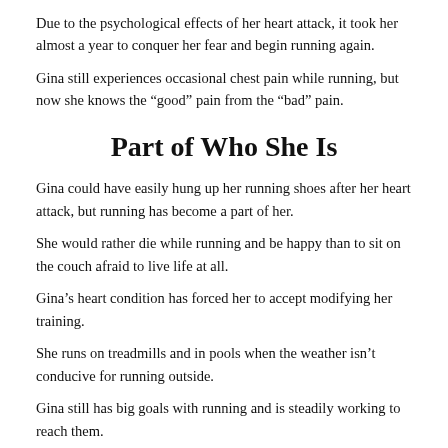Due to the psychological effects of her heart attack, it took her almost a year to conquer her fear and begin running again.
Gina still experiences occasional chest pain while running, but now she knows the “good” pain from the “bad” pain.
Part of Who She Is
Gina could have easily hung up her running shoes after her heart attack, but running has become a part of her.
She would rather die while running and be happy than to sit on the couch afraid to live life at all.
Gina’s heart condition has forced her to accept modifying her training.
She runs on treadmills and in pools when the weather isn’t conducive for running outside.
Gina still has big goals with running and is steadily working to reach them.